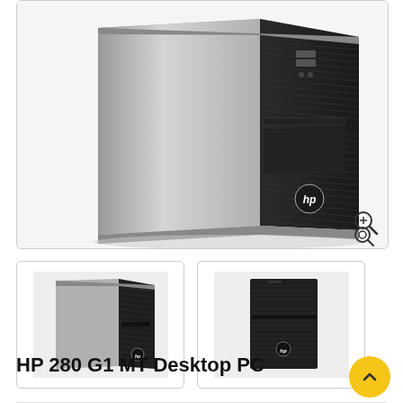[Figure (photo): HP 280 G1 MT Desktop PC tower unit shown at an angle, black and silver case with HP logo, front panel showing USB ports and optical drive, viewed from front-left perspective]
[Figure (photo): HP 280 G1 MT Desktop PC tower thumbnail image, front-left view, black case]
[Figure (photo): HP 280 G1 MT Desktop PC tower thumbnail image, front view, black case]
HP 280 G1 MT Desktop PC